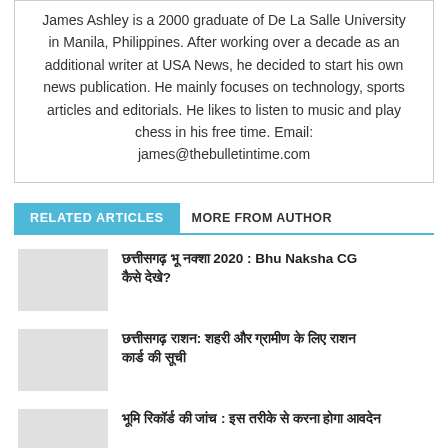James Ashley is a 2000 graduate of De La Salle University in Manila, Philippines. After working over a decade as an additional writer at USA News, he decided to start his own news publication. He mainly focuses on technology, sports articles and editorials. He likes to listen to music and play chess in his free time. Email: james@thebulletintime.com
RELATED ARTICLES   MORE FROM AUTHOR
छत्तीसगढ़ भू नक्शा 2020 : Bhu Naksha CG कैसे देखे?
छत्तीसगढ़ राशन: शहरी और ग्रामीण के लिए राशन कार्ड की सूची
भूमि रिकॉर्ड की जांच : इस तरीके से करना होगा आवदेन